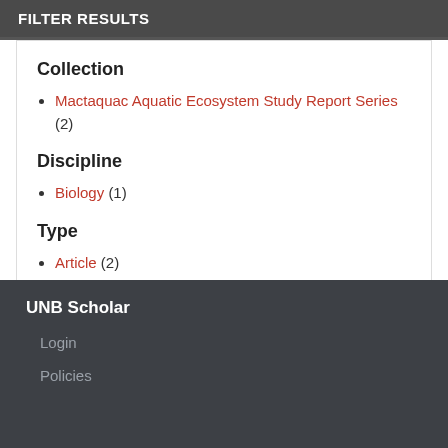FILTER RESULTS
Collection
Mactaquac Aquatic Ecosystem Study Report Series (2)
Discipline
Biology (1)
Type
Article (2)
UNB Scholar
Login
Policies